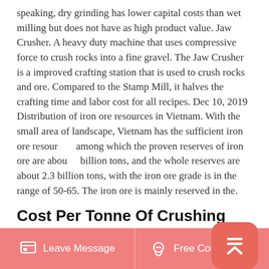speaking, dry grinding has lower capital costs than wet milling but does not have as high product value. Jaw Crusher. A heavy duty machine that uses compressive force to crush rocks into a fine gravel. The Jaw Crusher is a improved crafting station that is used to crush rocks and ore. Compared to the Stamp Mill, it halves the crafting time and labor cost for all recipes. Dec 10, 2019 Distribution of iron ore resources in Vietnam. With the small area of landscape, Vietnam has the sufficient iron ore resources, among which the proven reserves of iron ore are about 1 billion tons, and the whole reserves are about 2.3 billion tons, with the iron ore grade is in the range of 50-65. The iron ore is mainly reserved in the.
Cost Per Tonne Of Crushing Iron Ore
CN 12 YRS 5.0 (1) Contact Supplier Compare. PE series used